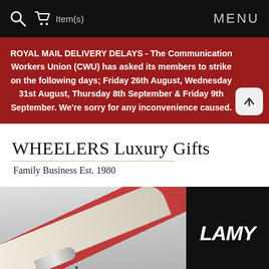Item(s)   MENU
ROYAL MAIL DELIVERY DELAYS - The Communication Workers Union (CWU) has asked its members to strike on the following days; Friday 26th August, Wednesday 31st August, Thursday 8th September & Friday 9th September. We're sorry for any inconvenience caused.
WHEELERS Luxury Gifts
Family Business Est. 1980
[Figure (photo): Photo of a cream and silver fountain pen nib against a grey and red background, with LAMY logo on a black panel to the right.]